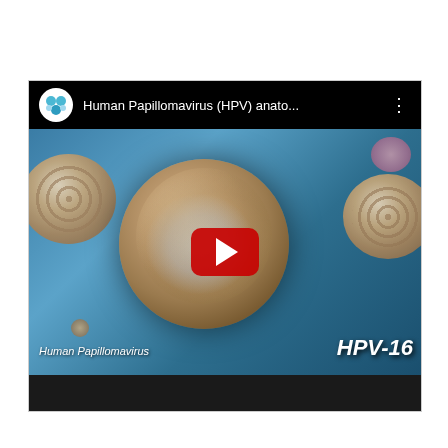[Figure (screenshot): YouTube video thumbnail/embed showing a 3D animation of Human Papillomavirus (HPV) anatomy. The video title bar shows a blue channel icon and the title 'Human Papillomavirus (HPV) anato...' with a three-dot menu. The video frame shows a dark blue background with 3D rendered HPV virus particles — a large central virus with golden-brown exterior and iridescent interior, smaller virus particles on left and right, and text overlays 'Human Papillomavirus' on the lower left and 'HPV-16' on the lower right. A red YouTube play button is centered on the video.]